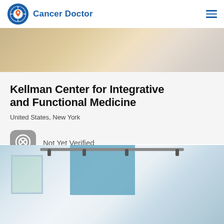Cancer Doctor
[Figure (photo): Interior room photo showing beige/tan curtains and white furniture in a clinic setting]
Kellman Center for Integrative and Functional Medicine
United States, New York
Not Yet Verified
[Figure (photo): Modern clinic interior with blue accent wall, ceiling track lighting, and a reception or treatment area with a window]